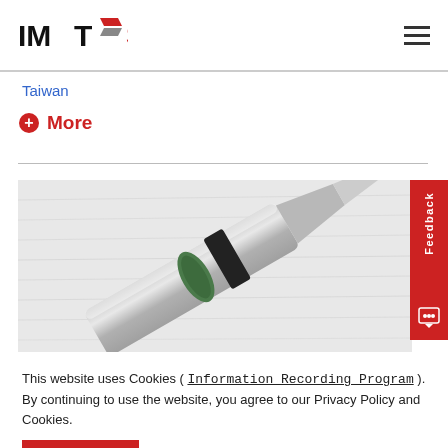[Figure (logo): IMTS logo with stylized S in red and angular graphic mark]
Taiwan
+ More
[Figure (photo): Close-up of a machining tool holder or spindle with green rubber ring and black clamp against brushed metal background]
This website uses Cookies ( Information Recording Program ). By continuing to use the website, you agree to our Privacy Policy and Cookies.
I agree